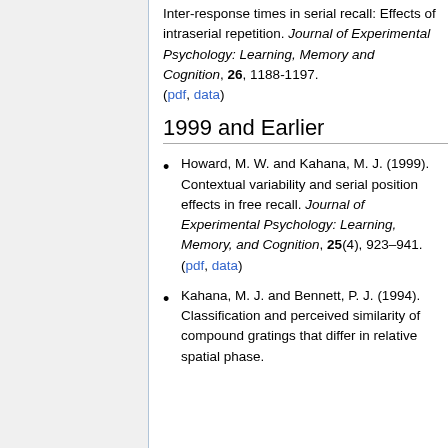Inter-response times in serial recall: Effects of intraserial repetition. Journal of Experimental Psychology: Learning, Memory and Cognition, 26, 1188-1197. (pdf, data)
1999 and Earlier
Howard, M. W. and Kahana, M. J. (1999). Contextual variability and serial position effects in free recall. Journal of Experimental Psychology: Learning, Memory, and Cognition, 25(4), 923–941. (pdf, data)
Kahana, M. J. and Bennett, P. J. (1994). Classification and perceived similarity of compound gratings that differ in relative spatial phase.